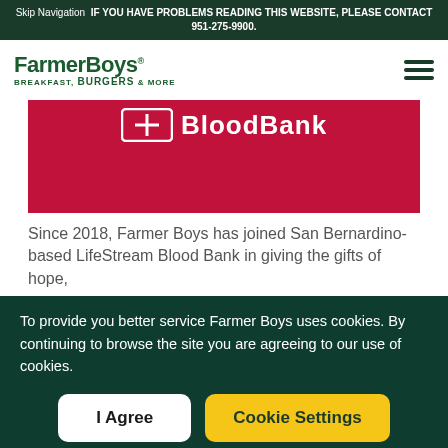Skip Navigation IF YOU HAVE PROBLEMS READING THIS WEBSITE, PLEASE CONTACT 951-275-9900.
[Figure (logo): Farmer Boys logo with text 'BREAKFAST, BURGERS & MORE' and hamburger menu icon]
[Figure (photo): Red background Blood Bank banner with white text 'Blood Bank' and a logo icon]
Since 2018, Farmer Boys has joined San Bernardino-based LifeStream Blood Bank in giving the gifts of hope,
To provide you better service Farmer Boys uses cookies. By continuing to browse the site you are agreeing to our use of cookies.
I Agree
Cookie Settings